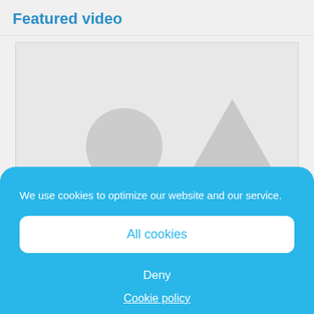Featured video
[Figure (screenshot): Video placeholder image with a grey background showing a circle and triangle placeholder graphic, with a dark overlay bar at the bottom containing the text 'Click to accept marketing cookies and enable this content.']
We use cookies to optimize our website and our service.
All cookies
Deny
Cookie policy